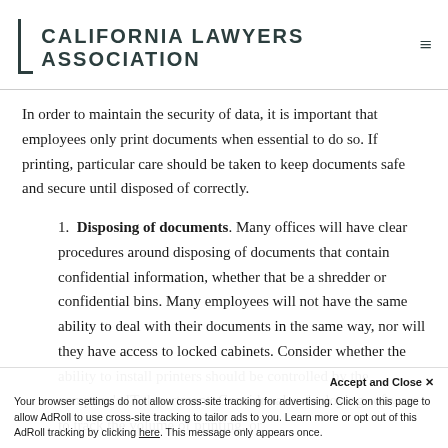CALIFORNIA LAWYERS ASSOCIATION
In order to maintain the security of data, it is important that employees only print documents when essential to do so. If printing, particular care should be taken to keep documents safe and secure until disposed of correctly.
Disposing of documents. Many offices will have clear procedures around disposing of documents that contain confidential information, whether that be a shredder or confidential bins. Many employees will not have the same ability to deal with their documents in the same way, nor will they have access to locked cabinets. Consider whether the ability to install printers should be controlled by the company's IT department. Consider also deploying software to track the volume of printing, or minimising printing to be considered here.
Accept and Close ✕
Your browser settings do not allow cross-site tracking for advertising. Click on this page to allow AdRoll to use cross-site tracking to tailor ads to you. Learn more or opt out of this AdRoll tracking by clicking here. This message only appears once.